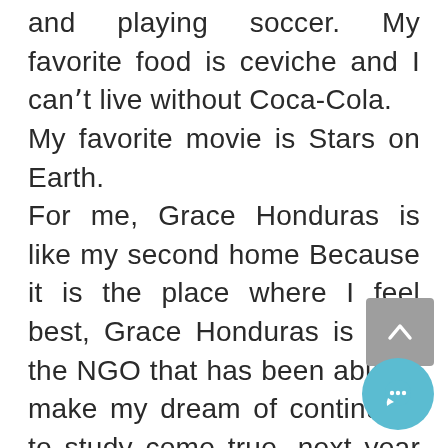and playing soccer. My favorite food is ceviche and I can't live without Coca-Cola. My favorite movie is Stars on Earth. For me, Grace Honduras is like my second home Because it is the place where I feel best, Grace Honduras is also the NGO that has been able to make my dream of continuing to study come true, next year with God's help I will be able to go to University, a dream that I always said was not going to come true, but now Grace taught me that it can.